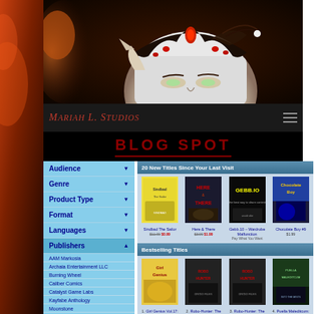[Figure (illustration): Fantasy illustration of a white-haired figure wearing a dark ornate crown with red gems, close-up face with glowing eyes, dark fantasy art style]
Mariah L. Studios
BLOG SPOT
Audience
Genre
Product Type
Format
Languages
Publishers
AAM Markosia
Archaia Entertainment LLC
Burning Wheel
Caliber Comics
Catalyst Game Labs
Kayfabe Anthology
Moonstone
Onyx Path Publishing
Pelgrane Press
Rebellion Publishing Ltd
20 New Titles Since Your Last Visit
| Title | Price |
| --- | --- |
| Sindbad The Sailor | $11.99 $0.99 |
| Here & There | $3.99 $1.99 |
| Gebb.10 – Wardrobe Malfunction | Pay What You Want |
| Chocolate Boy #9 | $1.99 |
Bestselling Titles
| # | Title | Price |
| --- | --- | --- |
| 1. | Girl Genius Vol.17: Second Journey Book 4 | $48.00 $5.00 |
| 2. | Robo-Hunter: The Droid Files Volume 1 | $11.99 |
| 3. | Robo-Hunter: The Droid Files Volume 2 | $11.99 |
| 4. | Puella Maleditcum: Into the Mists Issue 1 S | $2.00 |